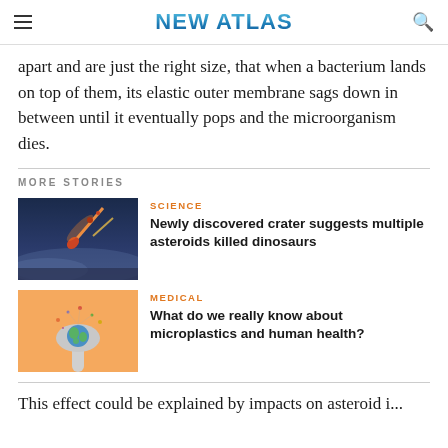NEW ATLAS
apart and are just the right size, that when a bacterium lands on top of them, its elastic outer membrane sags down in between until it eventually pops and the microorganism dies.
MORE STORIES
[Figure (photo): Asteroid impact illustration with glowing meteor streaking through atmosphere]
SCIENCE
Newly discovered crater suggests multiple asteroids killed dinosaurs
[Figure (photo): Microplastics on a spoon against orange background]
MEDICAL
What do we really know about microplastics and human health?
This effect could be explained by impacts on asteroid i...